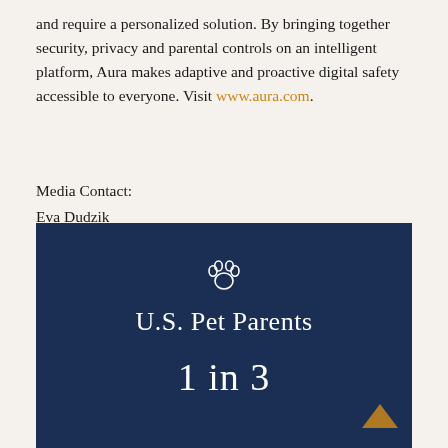and require a personalized solution. By bringing together security, privacy and parental controls on an intelligent platform, Aura makes adaptive and proactive digital safety accessible to everyone. Visit www.aura.com.
Media Contact:
Eva Dudzik
eva.dudzik@aura.com
[Figure (infographic): Dark navy blue infographic panel with a paw print icon, the text 'U.S. Pet Parents' in white serif font, and '1 in 3' in large white serif font below.]